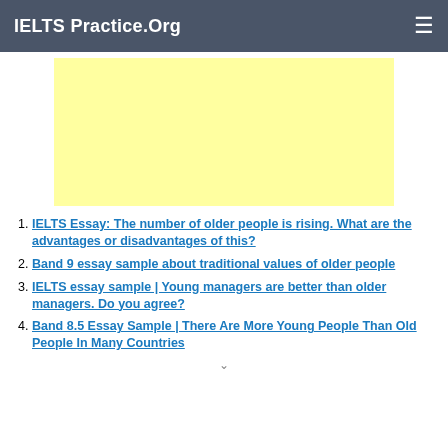IELTS Practice.Org
[Figure (other): Yellow advertisement banner placeholder]
IELTS Essay: The number of older people is rising. What are the advantages or disadvantages of this?
Band 9 essay sample about traditional values of older people
IELTS essay sample | Young managers are better than older managers. Do you agree?
Band 8.5 Essay Sample | There Are More Young People Than Old People In Many Countries